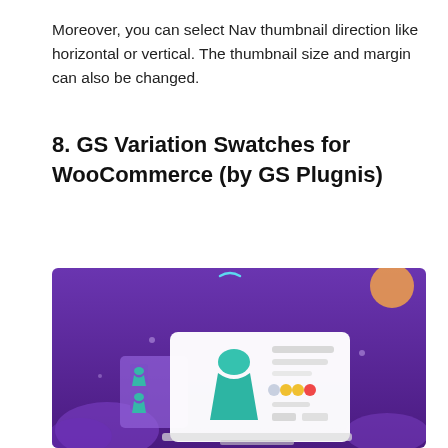Moreover, you can select Nav thumbnail direction like horizontal or vertical. The thumbnail size and margin can also be changed.
8. GS Variation Swatches for WooCommerce (by GS Plugnis)
[Figure (illustration): Illustrated banner with a purple/violet gradient background showing a stylized laptop or product display UI with a teal/green dress icon and color swatches, representing a WooCommerce variation swatches plugin. An orange circle is in the upper right, decorative wave shapes in white/light purple at the bottom.]